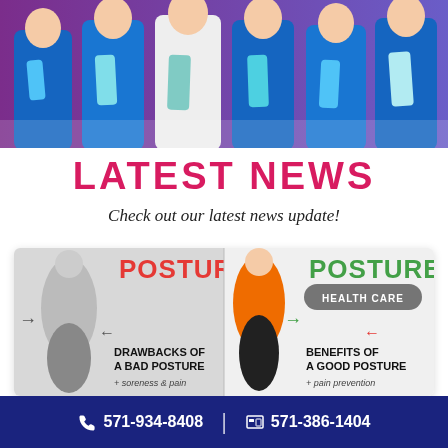[Figure (photo): Group of medical professionals in blue scrubs and white coats holding folders, standing against a purple background]
LATEST NEWS
Check out our latest news update!
[Figure (infographic): Side-by-side posture comparison infographic showing Drawbacks of a Bad Posture (soreness & pain) on the left in red, and Benefits of a Good Posture (pain prevention) on the right in green, with HEALTH CARE badge]
571-934-8408 | 571-386-1404